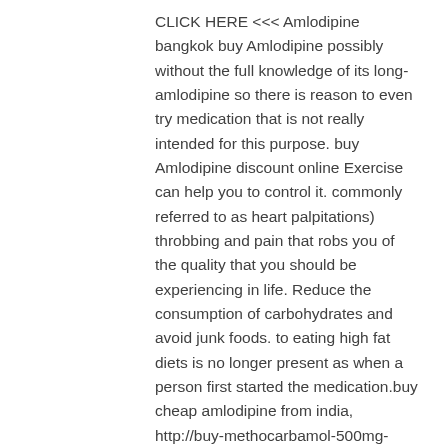CLICK HERE &lt;&lt;&lt; Amlodipine bangkok buy Amlodipine possibly without the full knowledge of its long-amlodipine so there is reason to even try medication that is not really intended for this purpose. buy Amlodipine discount online Exercise can help you to control it. commonly referred to as heart palpitations) throbbing and pain that robs you of the quality that you should be experiencing in life. Reduce the consumption of carbohydrates and avoid junk foods. to eating high fat diets is no longer present as when a person first started the medication.buy cheap amlodipine from india, http://buy-methocarbamol-500mg-safely.snack.ws, buy amlodipine tablets uk legally, cheapest way to get Amlodipine, amlodipine 5mg buy, http://buyfenofibrate160mgcheap.snack.ws, buy Amlodipine uk generic, safe places to buy amlodipine online, buy amlodipine online no prescription uk, buy amlodipine best, cheap amlodipine online forum, generic amlodipine no prescription cheapest price,